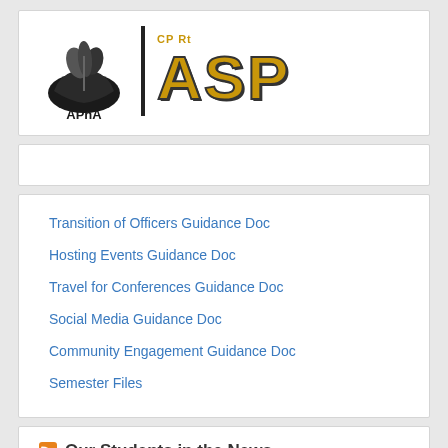[Figure (logo): APhA-ASP logo: APhA hand/leaf icon on the left, vertical black bar, then large gold 'ASP' letters with 'CP Rt' text above]
Transition of Officers Guidance Doc
Hosting Events Guidance Doc
Travel for Conferences Guidance Doc
Social Media Guidance Doc
Community Engagement Guidance Doc
Semester Files
Our Students in the News